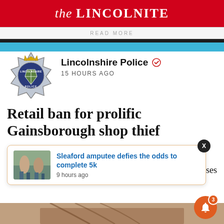the LINCOLNITE
READ MORE
[Figure (logo): Lincolnshire Police badge/crest logo]
Lincolnshire Police  15 HOURS AGO
Retail ban for prolific Gainsborough shop thief
il premises
[Figure (screenshot): Popup notification card showing 'Sleaford amputee defies the odds to complete 5k' with thumbnail image and timestamp '9 hours ago', with X close button]